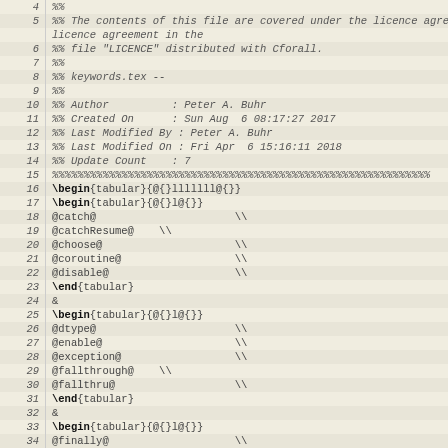Source code listing lines 4-35 of a LaTeX/CForall keywords file
| line | code |
| --- | --- |
| 4 | %% |
| 5 | %% The contents of this file are covered under the licence agreement in the |
| 6 | %% file "LICENCE" distributed with Cforall. |
| 7 | %% |
| 8 | %% keywords.tex -- |
| 9 | %% |
| 10 | %% Author          : Peter A. Buhr |
| 11 | %% Created On      : Sun Aug  6 08:17:27 2017 |
| 12 | %% Last Modified By : Peter A. Buhr |
| 13 | %% Last Modified On : Fri Apr  6 15:16:11 2018 |
| 14 | %% Update Count    : 7 |
| 15 | %%%%%%%%%%%%%%%%%%%%%%%%%%%%%%%%%%%%%%%%%%%%%%%%%%%%%%%%%%%% |
| 16 | \begin{tabular}{@{}lllllll@{}} |
| 17 | \begin{tabular}{@{}l@{}} |
| 18 | @catch@                      \\ |
| 19 | @catchResume@    \\ |
| 20 | @choose@                     \\ |
| 21 | @coroutine@                  \\ |
| 22 | @disable@                    \\ |
| 23 | \end{tabular} |
| 24 | & |
| 25 | \begin{tabular}{@{}l@{}} |
| 26 | @dtype@                      \\ |
| 27 | @enable@                     \\ |
| 28 | @exception@                  \\ |
| 29 | @fallthrough@    \\ |
| 30 | @fallthru@                   \\ |
| 31 | \end{tabular} |
| 32 | & |
| 33 | \begin{tabular}{@{}l@{}} |
| 34 | @finally@                    \\ |
| 35 | @forall@                     \\ |